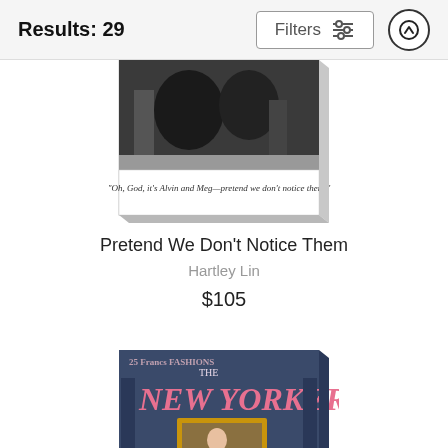Results: 29
[Figure (screenshot): Filter button with sliders icon and up-arrow circle button in header bar]
[Figure (photo): Canvas print of a New Yorker cartoon showing two people in winter scene with caption: 'Oh, God, it's Alvin and Meg—pretend we don't notice them.']
Pretend We Don't Notice Them
Hartley Lin
$105
[Figure (photo): Canvas print of The New Yorker magazine cover showing a vintage illustration with a woman in a decorative interior scene with gold-framed painting]